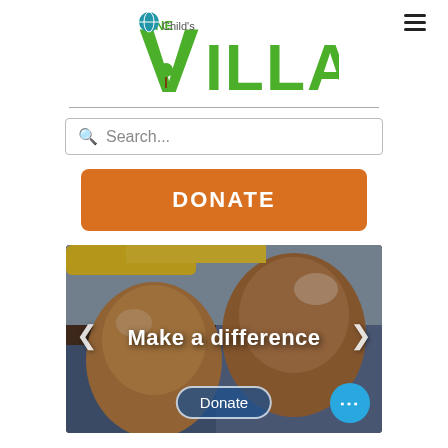[Figure (logo): One Child's Village logo with green V/tree and globe, bold VILLAGE lettering]
[Figure (screenshot): Search bar with magnifying glass icon and placeholder text 'Search...']
DONATE
[Figure (photo): Two smiling African children in school uniforms. Overlaid text 'Make a difference' with left/right arrows, a 'Donate' pill button, and a blue dots menu button.]